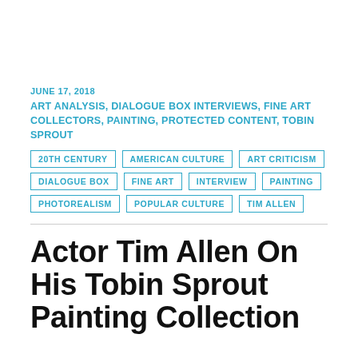JUNE 17, 2018
ART ANALYSIS, DIALOGUE BOX INTERVIEWS, FINE ART COLLECTORS, PAINTING, PROTECTED CONTENT, TOBIN SPROUT
20TH CENTURY
AMERICAN CULTURE
ART CRITICISM
DIALOGUE BOX
FINE ART
INTERVIEW
PAINTING
PHOTOREALISM
POPULAR CULTURE
TIM ALLEN
Actor Tim Allen On His Tobin Sprout Painting Collection